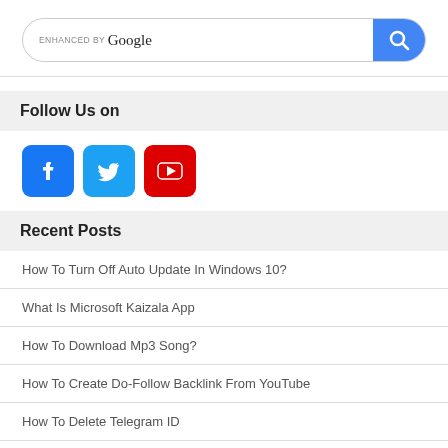[Figure (screenshot): Google search bar with 'ENHANCED BY Google' label and blue search button with magnifying glass icon]
Follow Us on
[Figure (illustration): Social media icons: Facebook (blue), Twitter (blue), YouTube (red)]
Recent Posts
How To Turn Off Auto Update In Windows 10?
What Is Microsoft Kaizala App
How To Download Mp3 Song?
How To Create Do-Follow Backlink From YouTube
How To Delete Telegram ID
How To Reduce Video Size : Complete information